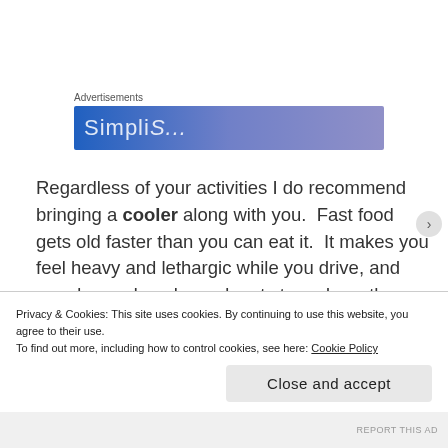Advertisements
[Figure (illustration): Advertisement banner with blue-to-purple gradient background and partially visible white text]
Regardless of your activities I do recommend bringing a cooler along with you.  Fast food gets old faster than you can eat it.  It makes you feel heavy and lethargic while you drive, and can demand unplanned rest stops down the line.  Stock up on fresh fruits and veggies, bread and lunch meat, and crunchy snacks like granola and pretzels to keep you
Privacy & Cookies: This site uses cookies. By continuing to use this website, you agree to their use.
To find out more, including how to control cookies, see here: Cookie Policy
Close and accept